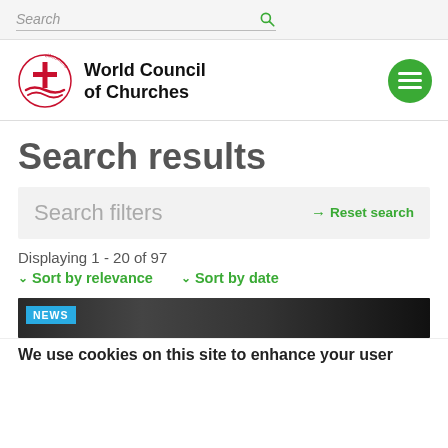[Figure (screenshot): Search bar with placeholder text 'Search' and a green magnifier icon on a light grey background]
[Figure (logo): World Council of Churches logo with WCC circular emblem on the left and text 'World Council of Churches' on the right, plus a green hamburger menu button]
Search results
Search filters
→ Reset search
Displaying 1 - 20 of 97
Sort by relevance   Sort by date
[Figure (screenshot): News card thumbnail with dark background and a blue NEWS badge label]
We use cookies on this site to enhance your user